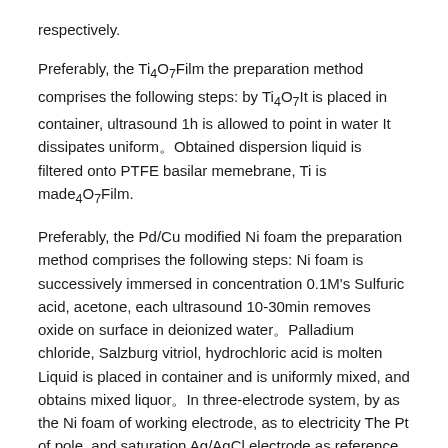respectively.
Preferably, the Ti4O7Film the preparation method comprises the following steps: by Ti4O7It is placed in container, ultrasound 1h is allowed to point in water It dissipates uniform。Obtained dispersion liquid is filtered onto PTFE basilar memebrane, Ti is made4O7Film.
Preferably, the Pd/Cu modified Ni foam the preparation method comprises the following steps: Ni foam is successively immersed in concentration 0.1M's Sulfuric acid, acetone, each ultrasound 10-30min removes oxide on surface in deionized water。Palladium chloride, Salzburg vitriol, hydrochloric acid is molten Liquid is placed in container and is uniformly mixed, and obtains mixed liquor。In three-electrode system, by as the Ni foam of working electrode, as to electricity The Pt of pole, and saturation Ag/AgCl electrode as reference electrode immerse in mixed liquor jointly, are -1.0V in application current potential Electro-deposition experiment, the Ni foam being modified after the completion of deposition up to Pd/Cu are carried out under conditions of vs.Ag/AgCl.